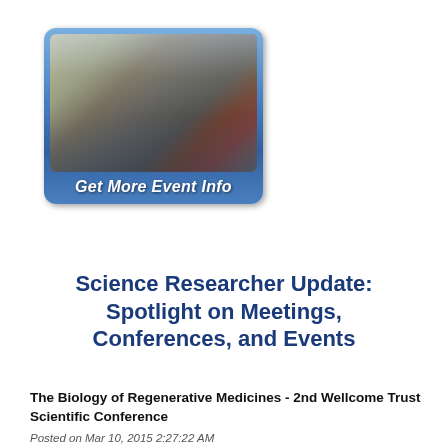[Figure (photo): Button/banner image showing a crowd of people at a conference or event, with a blue rounded-rectangle border and the label 'Get More Event Info' in bold italic white text at the bottom.]
Science Researcher Update: Spotlight on Meetings, Conferences, and Events
The Biology of Regenerative Medicines - 2nd Wellcome Trust Scientific Conference
Posted on Mar 10, 2015 2:27:22 AM